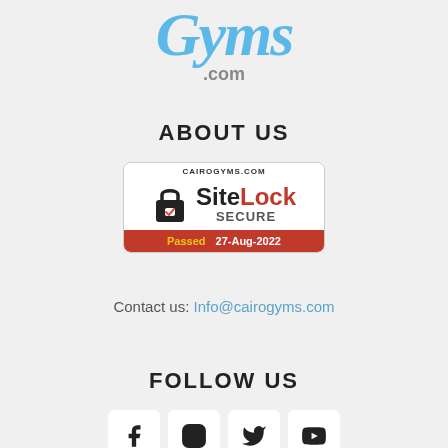[Figure (logo): CairoGyms.com logo — cursive blue 'Gyms' text with '.com' below in grey]
ABOUT US
[Figure (other): SiteLock SECURE badge for cairogyms.com, Passed 27-Aug-2022]
Contact us: Info@cairogyms.com
FOLLOW US
[Figure (other): Social media icons: Facebook, Instagram, Twitter, YouTube]